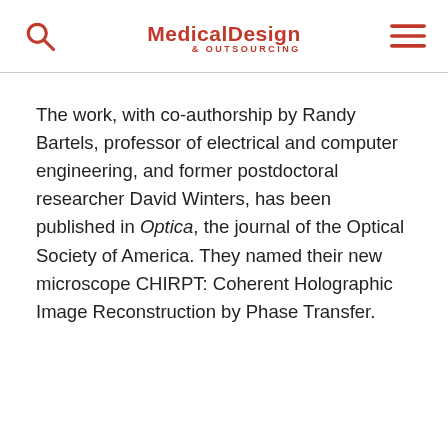Medical Design & Outsourcing
The work, with co-authorship by Randy Bartels, professor of electrical and computer engineering, and former postdoctoral researcher David Winters, has been published in Optica, the journal of the Optical Society of America. They named their new microscope CHIRPT: Coherent Holographic Image Reconstruction by Phase Transfer.